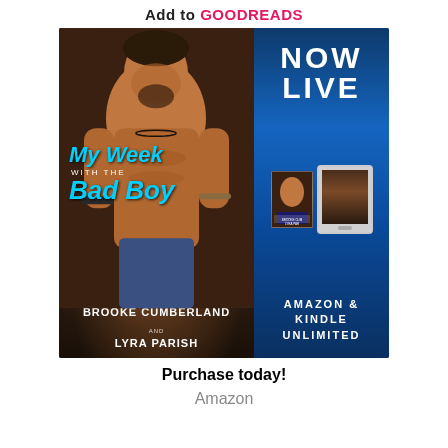Add to GOODREADS
[Figure (illustration): Book promotional image for 'My Week with the Bad Boy' by Brooke Cumberland and Lyra Parish. Left side shows book cover with shirtless man and blue script title. Right side shows 'NOW LIVE' text, book thumbnails, and 'AMAZON & KINDLE UNLIMITED' text on blue background.]
Purchase today!
Amazon